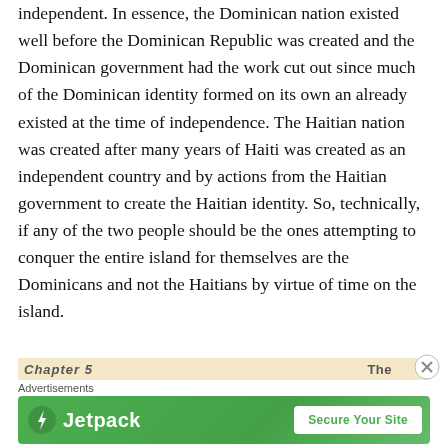independent. In essence, the Dominican nation existed well before the Dominican Republic was created and the Dominican government had the work cut out since much of the Dominican identity formed on its own an already existed at the time of independence. The Haitian nation was created after many years of Haiti was created as an independent country and by actions from the Haitian government to create the Haitian identity. So, technically, if any of the two people should be the ones attempting to conquer the entire island for themselves are the Dominicans and not the Haitians by virtue of time on the island.
Chapter 5 ... The
Advertisements
[Figure (other): Jetpack advertisement banner with green gradient background, Jetpack logo on left and 'Secure Your Site' button on right]